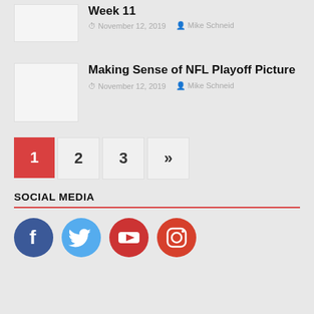Week 11
November 12, 2019  Mike Schneid
Making Sense of NFL Playoff Picture
November 12, 2019  Mike Schneid
1
2
3
»
SOCIAL MEDIA
[Figure (illustration): Social media icons: Facebook, Twitter, YouTube, Instagram]